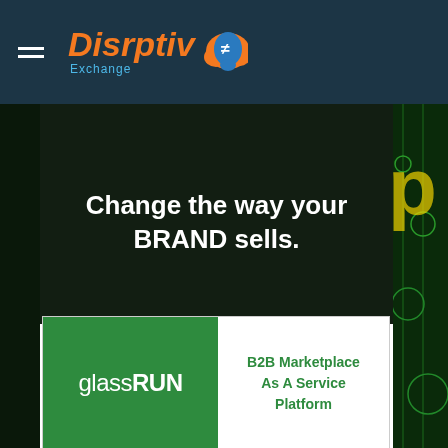[Figure (logo): Disrptiv Exchange logo with orange cloud icon and teal text]
Change the way your BRAND sells.
[Figure (logo): glassRUN logo - green background with white text, B2B Marketplace As A Service Platform]
EASY TO BUY
QUICK TO DEPLOY
RAPID RESULTS
DIGITALIZING THE VALUE CHAIN
Your Private B2B Marketplace As A Service Platform
glassRUN is a Digital Marketplace As